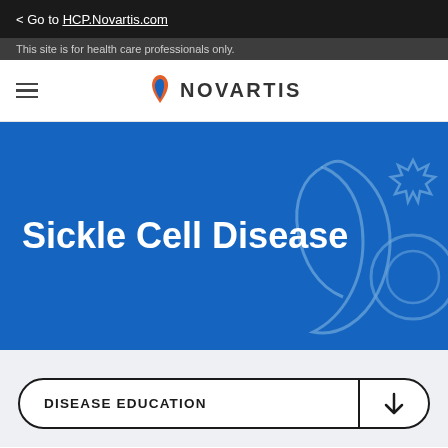< Go to HCP.Novartis.com
This site is for health care professionals only.
[Figure (logo): Novartis logo with flame icon and NOVARTIS text]
Sickle Cell Disease
DISEASE EDUCATION